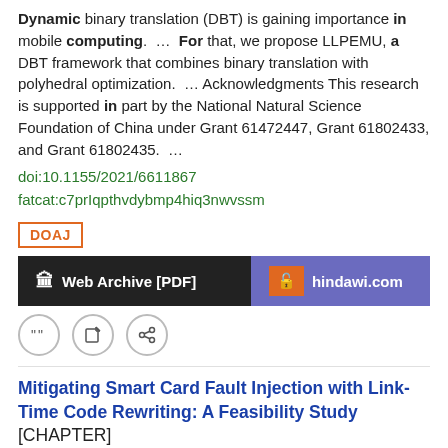Dynamic binary translation (DBT) is gaining importance in mobile computing. ... For that, we propose LLPEMU, a DBT framework that combines binary translation with polyhedral optimization. ... Acknowledgments This research is supported in part by the National Natural Science Foundation of China under Grant 61472447, Grant 61802433, and Grant 61802435. ...
doi:10.1155/2021/6611867
fatcat:c7prIqpthvdybmp4hiq3nwvssm
DOAJ
Web Archive [PDF]
hindawi.com
Mitigating Smart Card Fault Injection with Link-Time Code Rewriting: A Feasibility Study [CHAPTER]
Jonas Maebe, Ronald De Keulenaer, Bjorn De Sutter, Koen De Bosschere
2013 Lecture Notes in Computer Science
We present a feasibility study to protect smart card software against fault-injection attacks by means of binary code rewriting. ... We implemented a range of protection techniques in a link-time